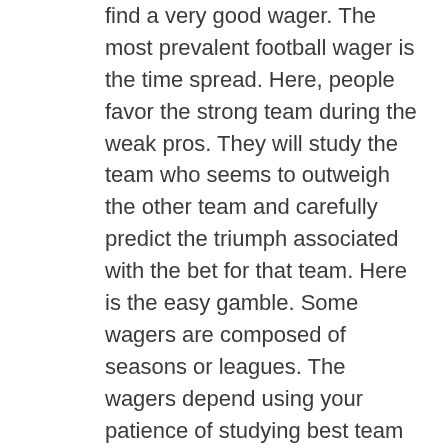find a very good wager. The most prevalent football wager is the time spread. Here, people favor the strong team during the weak pros. They will study the team who seems to outweigh the other team and carefully predict the triumph associated with the bet for that team. Here is the easy gamble. Some wagers are composed of seasons or leagues. The wagers depend using your patience of studying best team playing.
The game results could be obtained the particular busy soccer fans. They are able to get the outcome at the end of their fingers. Live soccer scores can be seen through various websites and be accessible through a click found in a button. Latest scores could be obtained from specific rrnternet sites. The game comes from other countries are accessible. The scores go several helpful game summaries and